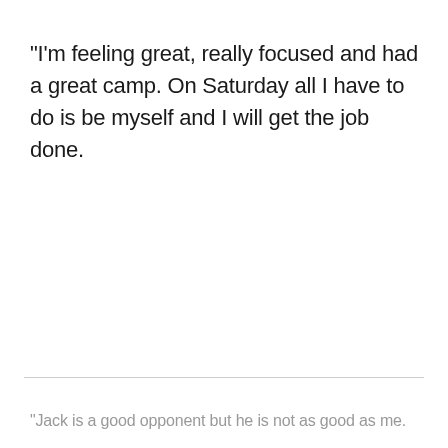"I'm feeling great, really focused and had a great camp. On Saturday all I have to do is be myself and I will get the job done.
"Jack is a good opponent but he is not as good as me.